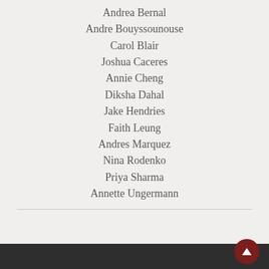Andrea Bernal
Andre Bouyssounouse
Carol Blair
Joshua Caceres
Annie Cheng
Diksha Dahal
Jake Hendries
Faith Leung
Andres Marquez
Nina Rodenko
Priya Sharma
Annette Ungermann